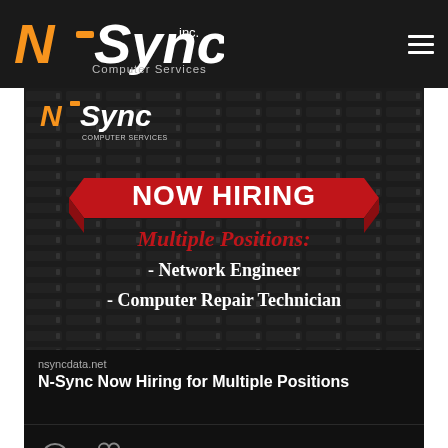[Figure (logo): N-Sync Inc. Computer Services logo in orange and white on dark background]
[Figure (illustration): N-Sync Computer Services Now Hiring banner showing Multiple Positions: Network Engineer, Computer Repair Technician, on dark server rack background]
nsyncdata.net
N-Sync Now Hiring for Multiple Positions
[Figure (infographic): Comment and like icons in the reaction bar]
[Figure (screenshot): Twitter card showing N-Sync Computer Services @NsyncComputers - Mar 2 tweet with avatar and Twitter bird logo]
Now Hiring- Computer Repair Technician